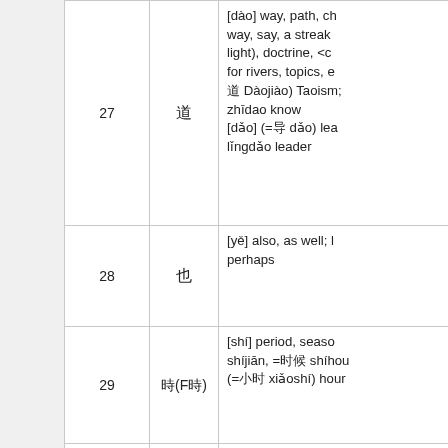| # | Character | Definition |
| --- | --- | --- |
| 27 | 道 | [dào] way, path, channel, way, say, a streak (of light), doctrine, <classifier for rivers, topics, etc.> 道教 Dàojiào) Taoism; 知道 zhīdao know [dǎo] (=导 dǎo) lead; 领导 lǐngdǎo leader |
| 28 | 也 | [yě] also, as well; maybe, perhaps |
| 29 | 時(F時) | [shí] period, season; 时间 shíjiān, =时候 shíhou time; (=小时 xiǎoshí) hour |
| 30 | 年 | [nián] year, <family name>; 今年 jīnnián this year; 明年 míngnián next year; 去年 qùnián last year; 中年 zhōngnián middle |
|  |  | [de] <adverbial pa |